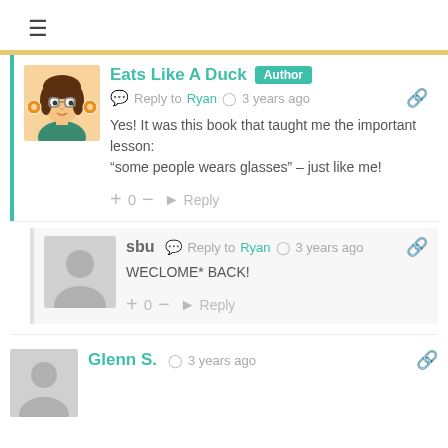[Figure (screenshot): Hamburger menu icon (three horizontal lines)]
Eats Like A Duck  Author
Reply to Ryan  3 years ago
Yes! It was this book that taught me the important lesson: “some people wears glasses” – just like me!
+ 0 –  Reply
sbu  Reply to Ryan  3 years ago
WECLOME* BACK!
+ 0 –  Reply
Glenn S.  3 years ago